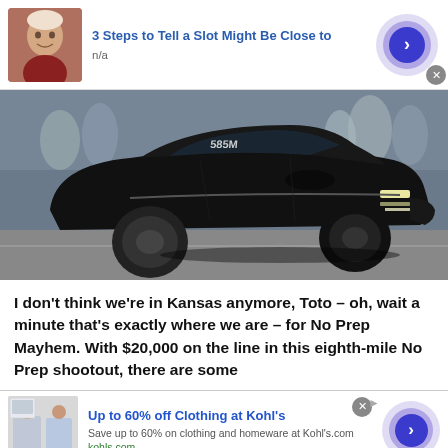[Figure (advertisement): Top ad banner with elderly man photo, title '3 Steps to Tell a Slot Might Be Close to', subtitle 'n/a', and blue arrow button]
[Figure (photo): Black muscle car doing a wheelie at a drag racing event, crowd visible in background, number 585M on windshield]
I don't think we're in Kansas anymore, Toto – oh, wait a minute that's exactly where we are – for No Prep Mayhem. With $20,000 on the line in this eighth-mile No Prep shootout, there are some
[Figure (advertisement): Bottom ad banner for Kohl's: 'Up to 60% off Clothing at Kohl's', 'Save up to 60% on clothing and homeware at Kohl's.com', 'kohls.com', with fashion image and blue arrow button]